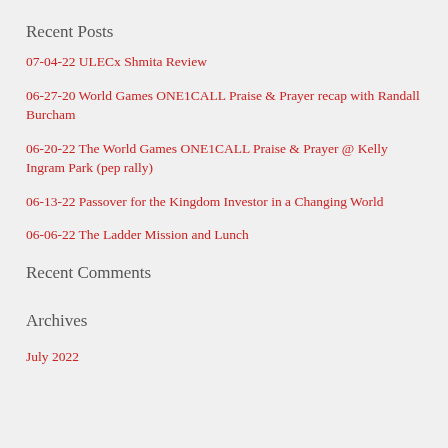Recent Posts
07-04-22 ULECx Shmita Review
06-27-20 World Games ONE1CALL Praise & Prayer recap with Randall Burcham
06-20-22 The World Games ONE1CALL Praise & Prayer @ Kelly Ingram Park (pep rally)
06-13-22 Passover for the Kingdom Investor in a Changing World
06-06-22 The Ladder Mission and Lunch
Recent Comments
Archives
July 2022